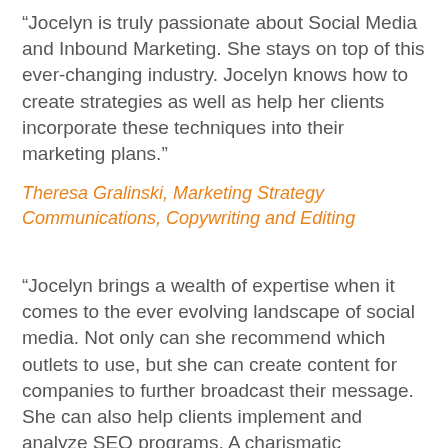“Jocelyn is truly passionate about Social Media and Inbound Marketing. She stays on top of this ever-changing industry. Jocelyn knows how to create strategies as well as help her clients incorporate these techniques into their marketing plans.”
Theresa Gralinski, Marketing Strategy Communications, Copywriting and Editing
“Jocelyn brings a wealth of expertise when it comes to the ever evolving landscape of social media. Not only can she recommend which outlets to use, but she can create content for companies to further broadcast their message. She can also help clients implement and analyze SEO programs. A charismatic professional, Jocelyn is a